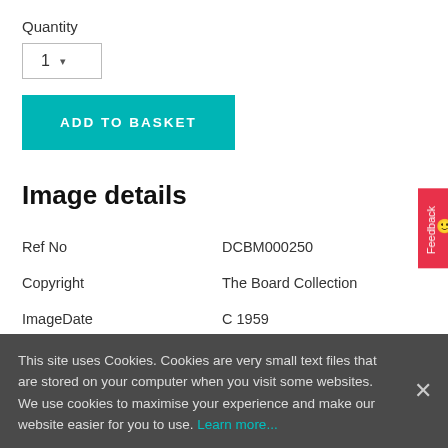Quantity
1 ▾
ADD TO BASKET
Image details
| Ref No | DCBM000250 |
| Copyright | The Board Collection |
| ImageDate | C 1959 |
Town	Buxton
About this image
This site uses Cookies. Cookies are very small text files that are stored on your computer when you visit some websites. We use cookies to maximise your experience and make our website easier for you to use. Learn more...